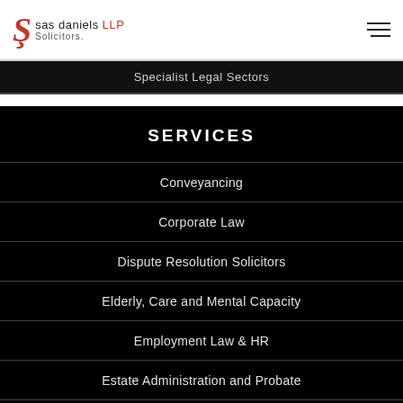[Figure (logo): SAS Daniels LLP Solicitors logo with red stylized S and black text]
Specialist Legal Sectors
SERVICES
Conveyancing
Corporate Law
Dispute Resolution Solicitors
Elderly, Care and Mental Capacity
Employment Law & HR
Estate Administration and Probate
Family Law Solicitors